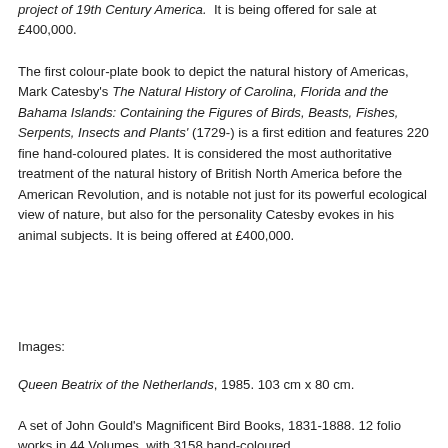project of 19th Century America.  It is being offered for sale at £400,000.
The first colour-plate book to depict the natural history of Americas, Mark Catesby's The Natural History of Carolina, Florida and the Bahama Islands: Containing the Figures of Birds, Beasts, Fishes, Serpents, Insects and Plants' (1729-) is a first edition and features 220 fine hand-coloured plates. It is considered the most authoritative treatment of the natural history of British North America before the American Revolution, and is notable not just for its powerful ecological view of nature, but also for the personality Catesby evokes in his animal subjects. It is being offered at £400,000.
Images:
Queen Beatrix of the Netherlands, 1985. 103 cm x 80 cm.
A set of John Gould's Magnificent Bird Books, 1831-1888. 12 folio works in 44 Volumes, with 3158 hand-coloured